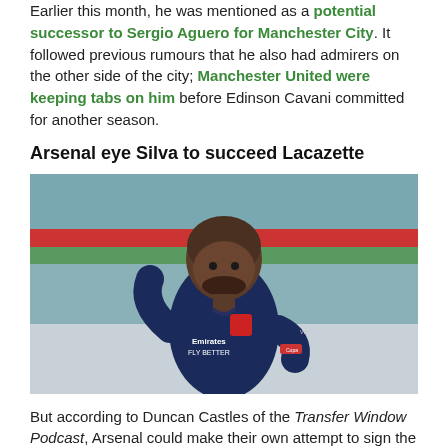Earlier this month, he was mentioned as a potential successor to Sergio Aguero for Manchester City. It followed previous rumours that he also had admirers on the other side of the city; Manchester United were keeping tabs on him before Edinson Cavani committed for another season.
Arsenal eye Silva to succeed Lacazette
[Figure (photo): A footballer wearing a dark navy Arsenal Emirates 'Fly Better' jersey, smiling, photographed during a match.]
But according to Duncan Castles of the Transfer Window Podcast, Arsenal could make their own attempt to sign the 25-year-old.